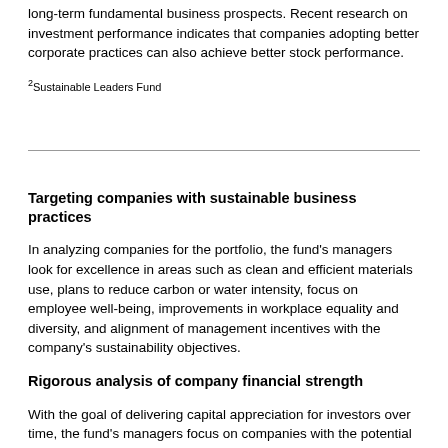long-term fundamental business prospects. Recent research on investment performance indicates that companies adopting better corporate practices can also achieve better stock performance.
2Sustainable Leaders Fund
Targeting companies with sustainable business practices
In analyzing companies for the portfolio, the fund's managers look for excellence in areas such as clean and efficient materials use, plans to reduce carbon or water intensity, focus on employee well-being, improvements in workplace equality and diversity, and alignment of management incentives with the company's sustainability objectives.
Rigorous analysis of company financial strength
With the goal of delivering capital appreciation for investors over time, the fund's managers focus on companies with the potential to produce strong financial performance. They consider factors such as the stock's valuation and the company's financial strength, growth potential, competitive position, future earnings, and cash flows.